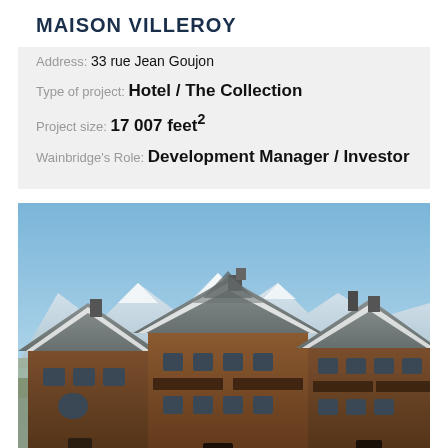MAISON VILLEROY
Address: 33 rue Jean Goujon
Type of project: Hotel / The Collection
Project size: 17 007 feet²
Wainbridge's Role: Development Manager / Investor
[Figure (photo): Alpine ski resort chalet buildings with snow-covered mountains in the background under a blue sky.]